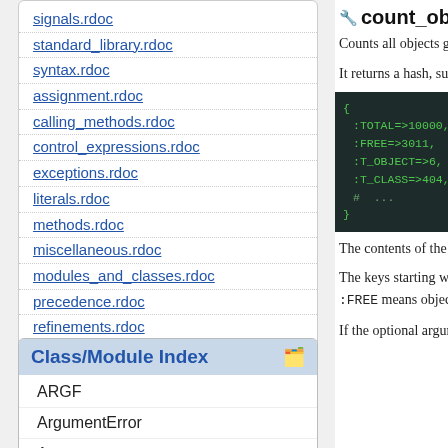signals.rdoc
standard_library.rdoc
syntax.rdoc
assignment.rdoc
calling_methods.rdoc
control_expressions.rdoc
exceptions.rdoc
literals.rdoc
methods.rdoc
miscellaneous.rdoc
modules_and_classes.rdoc
precedence.rdoc
refinements.rdoc
README.ja.rdoc
README.rdoc
Class/Module Index
ARGF
ArgumentError
Array
count_objects(
Counts all objects group
It returns a hash, such as
[Figure (screenshot): Code block showing a Ruby hash with keys :TOTAL=>10000, :FREE=>3011, :T_OBJECT=>6, :T_CLASS=>404, # ...]
The contents of the retu
The keys starting with :
:FREE means object slot
If the optional argument